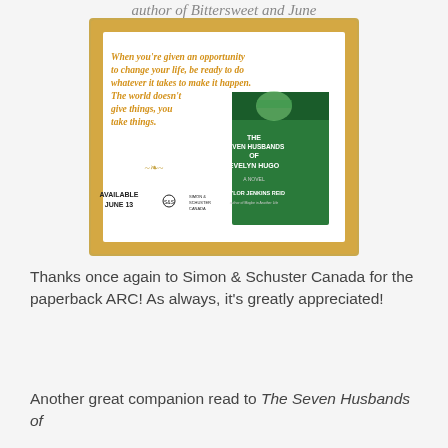author of Bittersweet and June
[Figure (illustration): Promotional book image for 'The Seven Husbands of Evelyn Hugo' by Taylor Jenkins Reid. Gold-framed white card with orange italic quote: 'When you're given an opportunity to change your life, be ready to do whatever it takes to make it happen. The world doesn't give things, you take things.' Book cover shown at right (green cover). Text: AVAILABLE JUNE 13, Simon & Schuster Canada logo.]
Thanks once again to Simon & Schuster Canada for the paperback ARC! As always, it's greatly appreciated!
Another great companion read to The Seven Husbands of